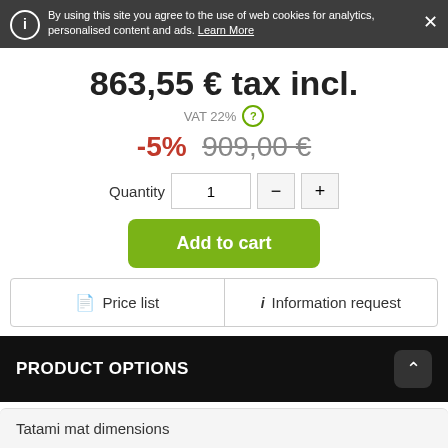By using this site you agree to the use of web cookies for analytics, personalised content and ads. Learn More
863,55 € tax incl.
VAT 22%
-5%  909,00 €
Quantity  1
Add to cart
Price list
Information request
PRODUCT OPTIONS
Tatami mat dimensions